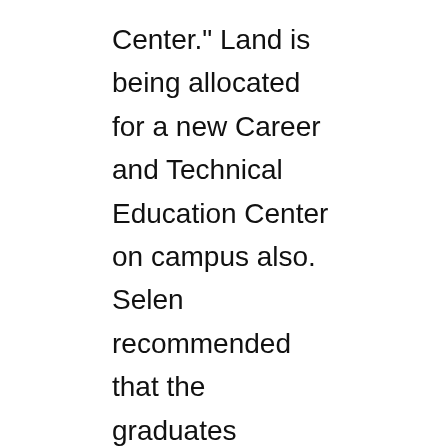Center." Land is being allocated for a new Career and Technical Education Center on campus also. Selen recommended that the graduates embrace and own the unique opportunities for success and growth.

While recognizing veterans and active-duty military personnel, English Professor Laura Driver presented this year's Peace Prize to graduate Jillian Polo. Born September 11, 2001, Polo created a tapestry of crocheted squares, whose series of yarn represents the experiences of those who have undergone tragedy united and interlocked to form one whole. Polo received a plaque and $1,000